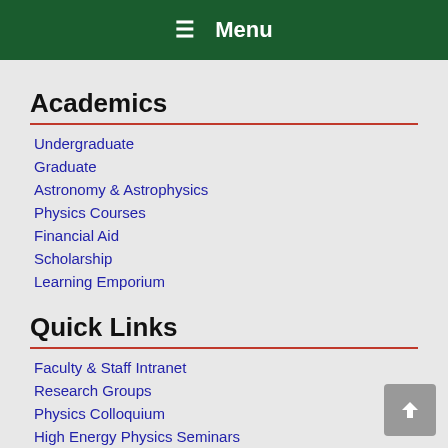☰ Menu
Academics
Undergraduate
Graduate
Astronomy & Astrophysics
Physics Courses
Financial Aid
Scholarship
Learning Emporium
Quick Links
Faculty & Staff Intranet
Research Groups
Physics Colloquium
High Energy Physics Seminars